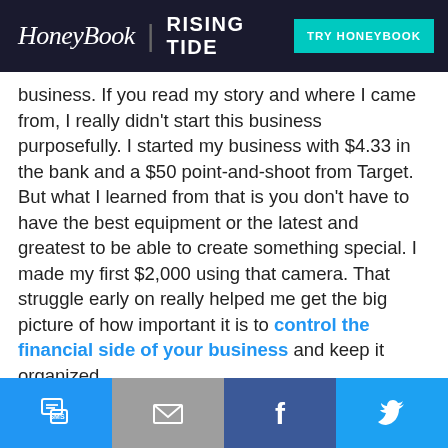HoneyBook | RISING TIDE  TRY HONEYBOOK
business. If you read my story and where I came from, I really didn't start this business purposefully. I started my business with $4.33 in the bank and a $50 point-and-shoot from Target. But what I learned from that is you don't have to have the best equipment or the latest and greatest to be able to create something special. I made my first $2,000 using that camera. That struggle early on really helped me get the big picture of how important it is to control the financial side of your business and keep it organized.
I started my business with $4.33 in the bank and a $50 point-and-shoot from Target.
SMS | Email | Facebook | Twitter